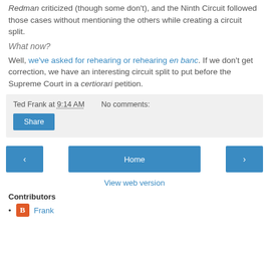Redman criticized (though some don't), and the Ninth Circuit followed those cases without mentioning the others while creating a circuit split.
What now?
Well, we've asked for rehearing or rehearing en banc. If we don't get correction, we have an interesting circuit split to put before the Supreme Court in a certiorari petition.
Ted Frank at 9:14 AM   No comments:
Share
Home
View web version
Contributors
Frank